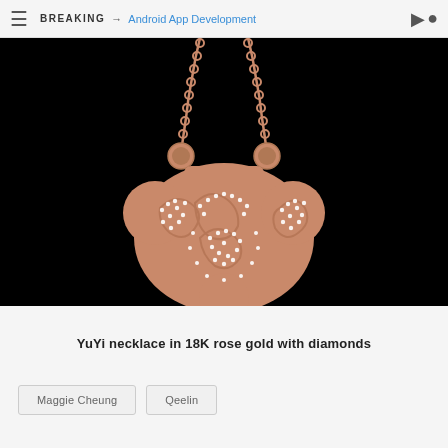BREAKING → Android App Development
[Figure (photo): YuYi necklace in 18K rose gold with diamonds on black background — an ornate padlock-shaped pendant with floral diamond-encrusted patterns suspended from a rose gold chain.]
YuYi necklace in 18K rose gold with diamonds
Maggie Cheung
Qeelin